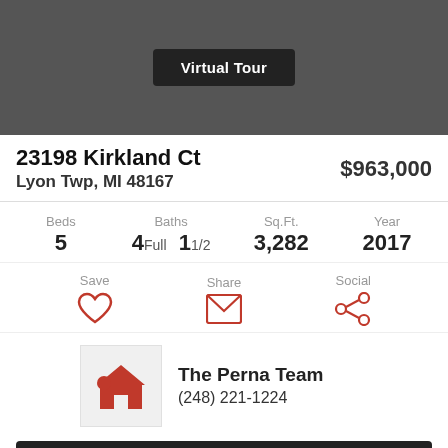[Figure (photo): Dark gray photo area for property image with Virtual Tour button overlay]
23198 Kirkland Ct
Lyon Twp, MI 48167
$963,000
Beds 5  Baths 4Full 1 1/2  Sq.Ft. 3,282  Year 2017
Save  Share  Social
The Perna Team
(248) 221-1224
Ask a Question